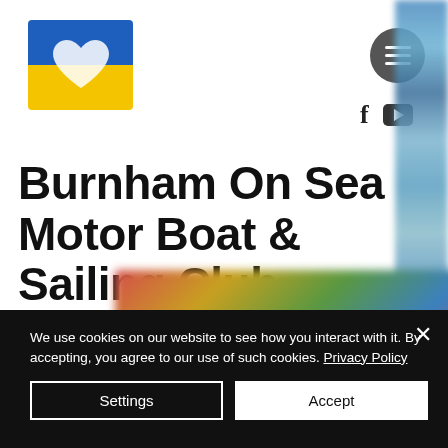[Figure (logo): Ukrainian heart flag logo image in top left corner]
[Figure (screenshot): Hamburger menu icon in dark circle, top right area]
[Figure (screenshot): Facebook and YouTube social media icons]
Burnham On Sea Motor Boat & Sailing Club
Established 1948.
[Figure (photo): Blurred colorful image at bottom of website area]
We use cookies on our website to see how you interact with it. By accepting, you agree to our use of such cookies. Privacy Policy
Settings
Accept